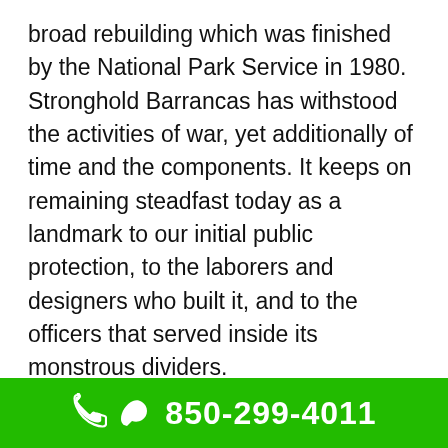broad rebuilding which was finished by the National Park Service in 1980. Stronghold Barrancas has withstood the activities of war, yet additionally of time and the components. It keeps on remaining steadfast today as a landmark to our initial public protection, to the laborers and designers who built it, and to the officers that served inside its monstrous dividers.

Government powers moved to Fort Pickens on January 10, 1861 that very day
850-299-4011